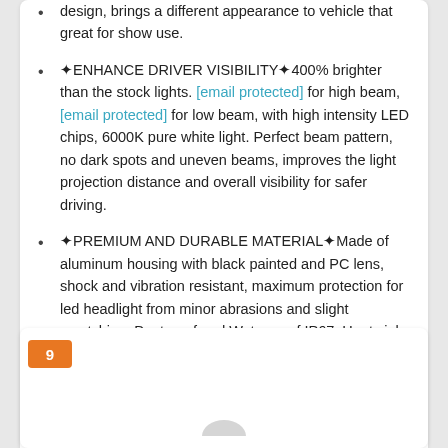design, brings a different appearance to vehicle that great for show use.
✦ENHANCE DRIVER VISIBILITY✦400% brighter than the stock lights. [email protected] for high beam, [email protected] for low beam, with high intensity LED chips, 6000K pure white light. Perfect beam pattern, no dark spots and uneven beams, improves the light projection distance and overall visibility for safer driving.
✦PREMIUM AND DURABLE MATERIAL✦Made of aluminum housing with black painted and PC lens, shock and vibration resistant, maximum protection for led headlight from minor abrasions and slight scratching. Dustproof and Waterproof IP67. Heat sink design for efficient cooling, extends the lifespan over 50000hrs.
✦SIMPLE INSTALLATION✦5.75 LED Headlight is built-in canbus, plug and play design. Usually only take about 20 minutes to install the lights. (Connector: H4/H13).
9